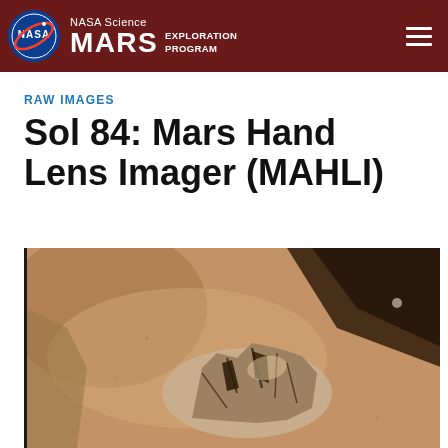NASA Science MARS EXPLORATION PROGRAM
RAW IMAGES
Sol 84: Mars Hand Lens Imager (MAHLI)
[Figure (photo): Close-up Mars surface image showing rocky formation on sandy terrain with rover shadow visible, taken by MAHLI camera on Sol 84]